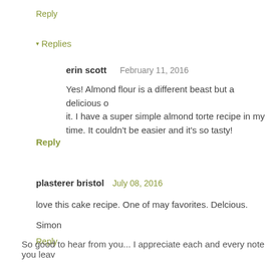Reply
▾ Replies
erin scott    February 11, 2016
Yes! Almond flour is a different beast but a delicious one. I love it. I have a super simple almond torte recipe in my book that I make all the time. It couldn't be easier and it's so tasty!
Reply
plasterer bristol    July 08, 2016
love this cake recipe. One of may favorites. Delcious.
Simon
Reply
So good to hear from you... I appreciate each and every note you leav